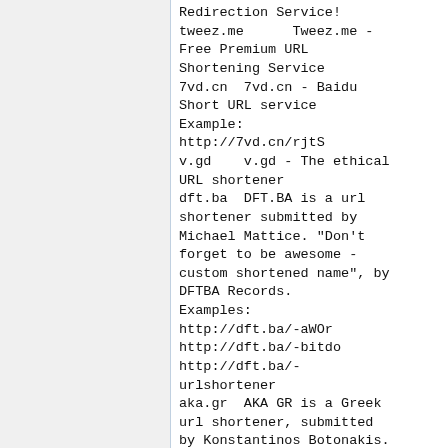Redirection Service!
tweez.me      Tweez.me - Free Premium URL Shortening Service
7vd.cn  7vd.cn - Baidu Short URL service Example: http://7vd.cn/rjtS
v.gd    v.gd - The ethical URL shortener
dft.ba  DFT.BA is a url shortener submitted by Michael Mattice. "Don't forget to be awesome - custom shortened name", by DFTBA Records. Examples: http://dft.ba/-aWOr http://dft.ba/-bitdo http://dft.ba/-urlshortener
aka.gr  AKA GR is a Greek url shortener, submitted by Konstantinos Botonakis. With sponsored ads.